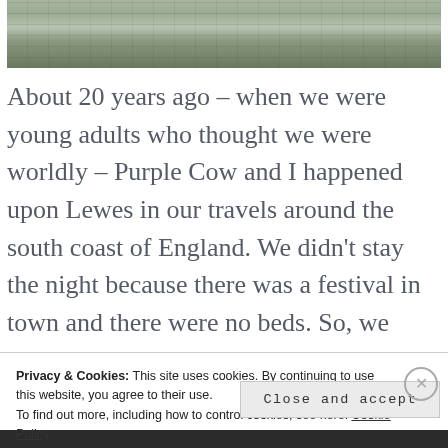[Figure (photo): Partial view of a stone wall or castle ramparts with green foliage, photographed outdoors.]
About 20 years ago – when we were young adults who thought we were worldly – Purple Cow and I happened upon Lewes in our travels around the south coast of England. We didn't stay the night because there was a festival in town and there were no beds. So, we wandered around the lovely streets, thinking what a
Privacy & Cookies: This site uses cookies. By continuing to use this website, you agree to their use.
To find out more, including how to control cookies, see here: Cookie Policy
Close and accept